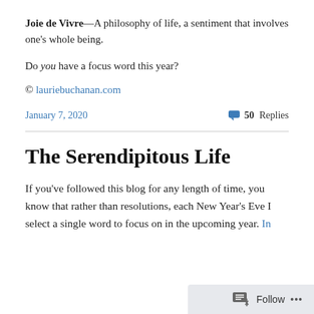Joie de Vivre—A philosophy of life, a sentiment that involves one's whole being.
Do you have a focus word this year?
© lauriebuchanan.com
January 7, 2020   💬 50 Replies
The Serendipitous Life
If you've followed this blog for any length of time, you know that rather than resolutions, each New Year's Eve I select a single word to focus on in the upcoming year. In